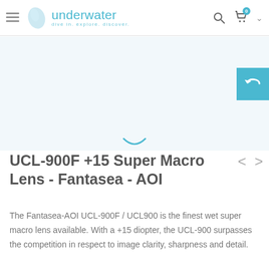underwater — dive in. explore. discover.
[Figure (photo): Product image area — light blue/white background, loading spinner arc visible]
UCL-900F +15 Super Macro Lens - Fantasea - AOI
The Fantasea-AOI UCL-900F / UCL900 is the finest wet super macro lens available. With a +15 diopter, the UCL-900 surpasses the competition in respect to image clarity, sharpness and detail.